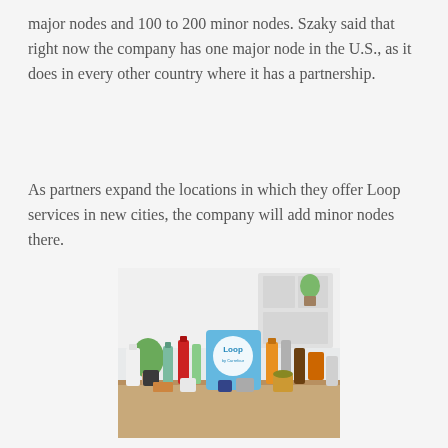major nodes and 100 to 200 minor nodes. Szaky said that right now the company has one major node in the U.S., as it does in every other country where it has a partnership.
As partners expand the locations in which they offer Loop services in new cities, the company will add minor nodes there.
[Figure (photo): A collection of reusable consumer product containers including bottles, jars, cans, and a blue Loop branded tote bag displayed on a wooden surface in front of a bright white kitchen background.]